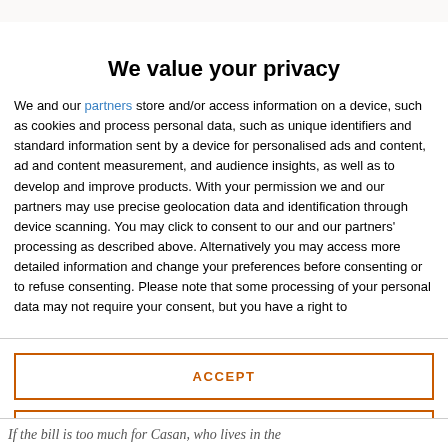[Figure (photo): Photograph strip at top of page, partially visible, showing people in a dark/warm-toned setting]
We value your privacy
We and our partners store and/or access information on a device, such as cookies and process personal data, such as unique identifiers and standard information sent by a device for personalised ads and content, ad and content measurement, and audience insights, as well as to develop and improve products. With your permission we and our partners may use precise geolocation data and identification through device scanning. You may click to consent to our and our partners' processing as described above. Alternatively you may access more detailed information and change your preferences before consenting or to refuse consenting. Please note that some processing of your personal data may not require your consent, but you have a right to
ACCEPT
MORE OPTIONS
If the bill is too much for Casan, who lives in the